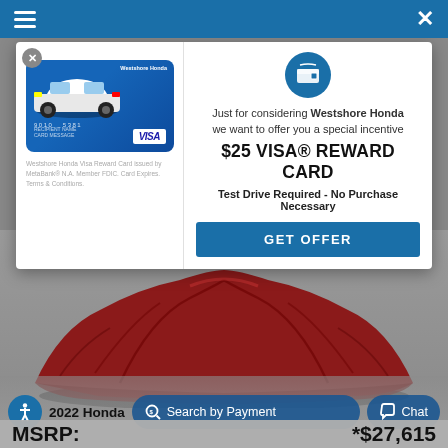Navigation bar with hamburger menu and close button
[Figure (screenshot): Westshore Honda Visa Reward Card image on blue gradient card background with car illustration and VISA logo]
Westshore Honda Visa Reward Card issued by MetaBank® N.A. Member FDIC. Card Expires. Terms & Conditions.
[Figure (illustration): Wallet/gift icon in blue circle]
Just for considering Westshore Honda we want to offer you a special incentive
$25 VISA® REWARD CARD
Test Drive Required - No Purchase Necessary
GET OFFER
[Figure (photo): A car covered with a red drape/cloth on a grey background, car shape visible underneath fabric]
2022 Honda
Search by Payment
Chat
MSRP:
*$27,615